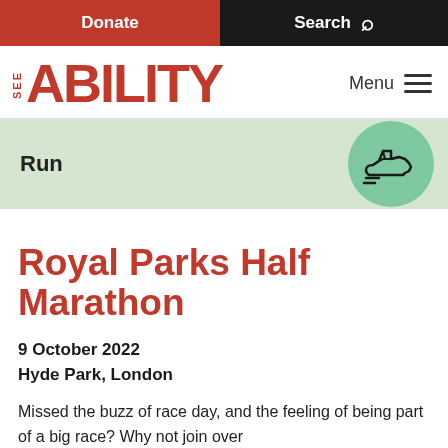Donate   Search
[Figure (logo): SeeAbility logo with SEE stacked vertically and ABILITY in large bold red letters]
Run
[Figure (illustration): Running shoe icon in a green circle]
Royal Parks Half Marathon
9 October 2022
Hyde Park, London
Missed the buzz of race day, and the feeling of being part of a big race? Why not join over